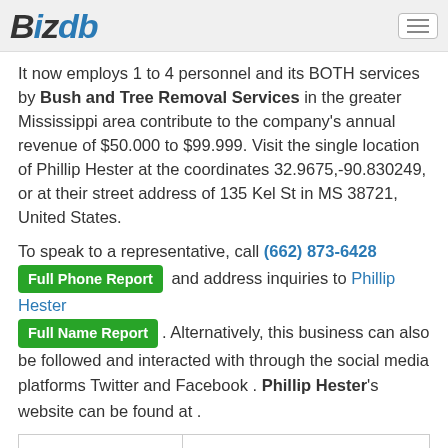BizDB
It now employs 1 to 4 personnel and its BOTH services by Bush and Tree Removal Services in the greater Mississippi area contribute to the company's annual revenue of $50.000 to $99.999. Visit the single location of Phillip Hester at the coordinates 32.9675,-90.830249, or at their street address of 135 Kel St in MS 38721, United States.
To speak to a representative, call (662) 873-6428 Full Phone Report and address inquiries to Phillip Hester Full Name Report. Alternatively, this business can also be followed and interacted with through the social media platforms Twitter and Facebook . Phillip Hester's website can be found at .
| Annual Revenue ($): | $50.000 to $99.999 |
| Location Type: | Single Location |
| Employee #: | 1 to 4 |